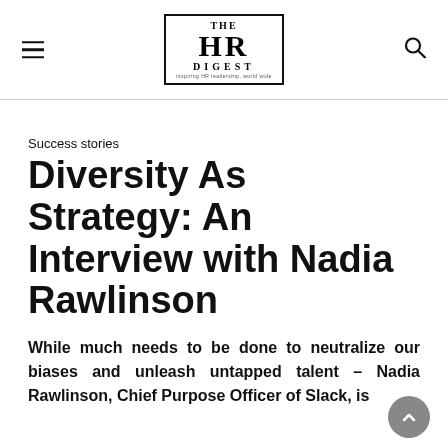THE HR DIGEST
Success stories
Diversity As Strategy: An Interview with Nadia Rawlinson
While much needs to be done to neutralize our biases and unleash untapped talent – Nadia Rawlinson, Chief Purpose Officer of Slack, is